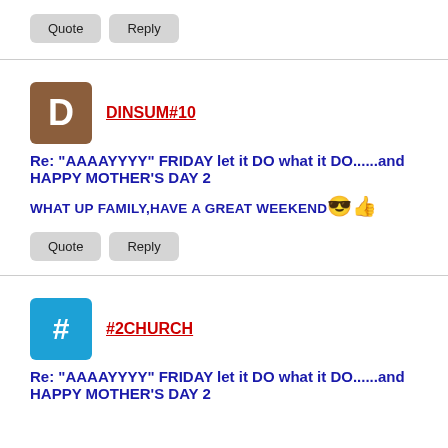Quote   Reply
[Figure (illustration): Brown square avatar with letter D]
DINSUM#10
Re: "AAAAYYYY" FRIDAY let it DO what it DO......and HAPPY MOTHER'S DAY 2
WHAT UP FAMILY,HAVE A GREAT WEEKEND 😎👍
Quote   Reply
[Figure (illustration): Blue square avatar with hash symbol #]
#2CHURCH
Re: "AAAAYYYY" FRIDAY let it DO what it DO......and HAPPY MOTHER'S DAY 2